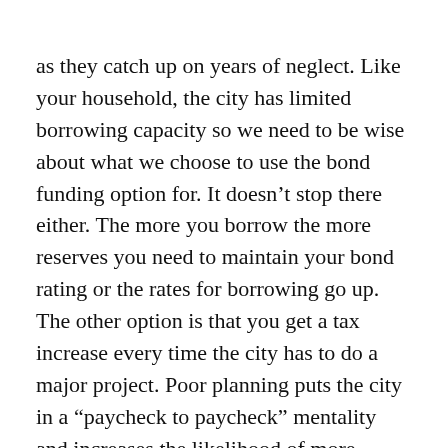as they catch up on years of neglect. Like your household, the city has limited borrowing capacity so we need to be wise about what we choose to use the bond funding option for. It doesn't stop there either. The more you borrow the more reserves you need to maintain your bond rating or the rates for borrowing go up. The other option is that you get a tax increase every time the city has to do a major project. Poor planning puts the city in a “paycheck to paycheck” mentality and increases the likelihood of more frequent tax increases.
The other thing of concern is that if we follow the policy proposed in the last budget meeting it is likely that we would lose our AAA bond